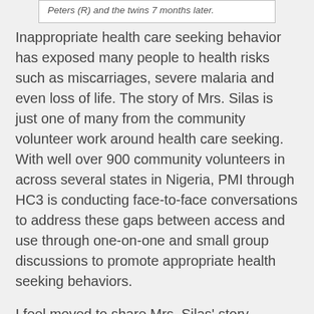Peters (R) and the twins 7 months later.
Inappropriate health care seeking behavior has exposed many people to health risks such as miscarriages, severe malaria and even loss of life. The story of Mrs. Silas is just one of many from the community volunteer work around health care seeking. With well over 900 community volunteers in across several states in Nigeria, PMI through HC3 is conducting face-to-face conversations to address these gaps between access and use through one-on-one and small group discussions to promote appropriate health seeking behaviors.
I feel moved to share Mrs. Silas' story because many people around the world are in her situation. I believe it is our duty in the SBCC community to continue to reach out to these communities and their members just like HC3 did.